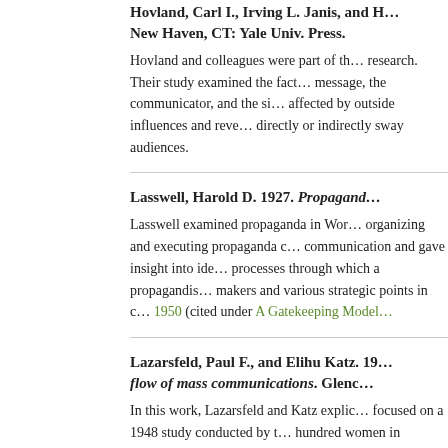Hovland, Carl I., Irving L. Janis, and H... New Haven, CT: Yale Univ. Press.
Hovland and colleagues were part of the... directly or indirectly sway audiences.
Lasswell, Harold D. 1927. Propaganda...
Lasswell examined propaganda in Wor... 1950 (cited under A Gatekeeping Model...
Lazarsfeld, Paul F., and Elihu Katz. 19... flow of mass communications. Glenc...
In this work, Lazarsfeld and Katz explic... their decision making. It was discovere...